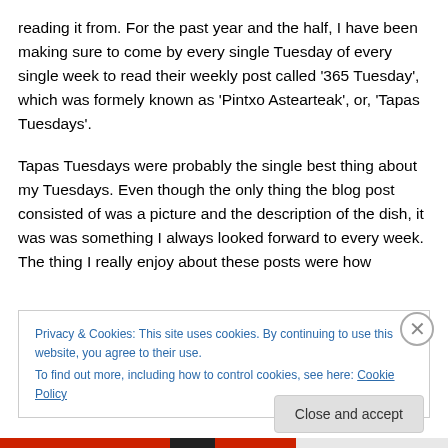reading it from. For the past year and the half, I have been making sure to come by every single Tuesday of every single week to read their weekly post called '365 Tuesday', which was formely known as 'Pintxo Astearteak', or, 'Tapas Tuesdays'.
Tapas Tuesdays were probably the single best thing about my Tuesdays. Even though the only thing the blog post consisted of was a picture and the description of the dish, it was was something I always looked forward to every week. The thing I really enjoy about these posts were how
Privacy & Cookies: This site uses cookies. By continuing to use this website, you agree to their use.
To find out more, including how to control cookies, see here: Cookie Policy
Close and accept